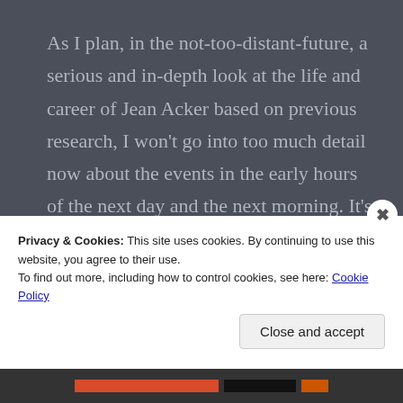As I plan, in the not-too-distant-future, a serious and in-depth look at the life and career of Jean Acker based on previous research, I won't go into too much detail now about the events in the early hours of the next day and the next morning. It's no secret that Acker slammed the door of her Hollywood Hotel room in the face of Valentino. Or that there was subsequently an odd series of encounters and incidents involving the couple in the four weeks between mid. November and mid. December. Suffice to say, that by the time Valentino
Privacy & Cookies: This site uses cookies. By continuing to use this website, you agree to their use.
To find out more, including how to control cookies, see here: Cookie Policy
Close and accept